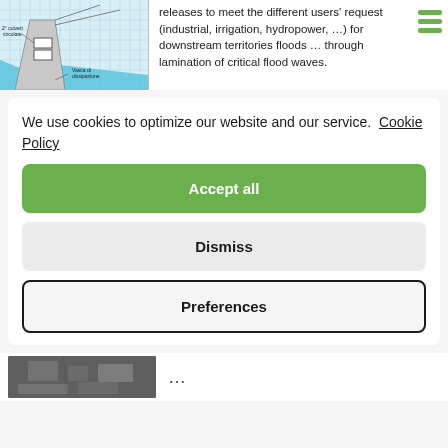[Figure (engineering-diagram): Engineering cross-section diagram of a dam/culvert structure with Italian labels: '2° culvert circolare' and 'Vasca di dissipazione', showing water flow and structural elements on a grid background.]
releases to meet the different users' request (industrial, irrigation, hydropower, …) for downstream territories floods … through lamination of critical flood waves.
We use cookies to optimize our website and our service.  Cookie Policy
Accept all
Dismiss
Preferences
[Figure (photo): Aerial or satellite black and white photograph of terrain/infrastructure.]
…